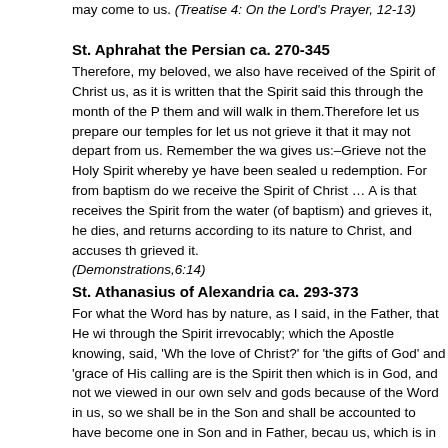may come to us. (Treatise 4: On the Lord's Prayer, 12-13)
St. Aphrahat the Persian ca. 270-345
Therefore, my beloved, we also have received of the Spirit of Christ us, as it is written that the Spirit said this through the month of the P them and will walk in them.Therefore let us prepare our temples for let us not grieve it that it may not depart from us. Remember the wa gives us:–Grieve not the Holy Spirit whereby ye have been sealed u redemption. For from baptism do we receive the Spirit of Christ … A is that receives the Spirit from the water (of baptism) and grieves it, he dies, and returns according to its nature to Christ, and accuses th grieved it.
(Demonstrations,6:14)
St. Athanasius of Alexandria ca. 293-373
For what the Word has by nature, as I said, in the Father, that He wi through the Spirit irrevocably; which the Apostle knowing, said, 'Wh the love of Christ?' for 'the gifts of God' and 'grace of His calling are is the Spirit then which is in God, and not we viewed in our own selv and gods because of the Word in us, so we shall be in the Son and shall be accounted to have become one in Son and in Father, becau us, which is in the Word which is in the Father. When then a man fa wickedness, if he repent upon his fall, the grace remains irrevocabl